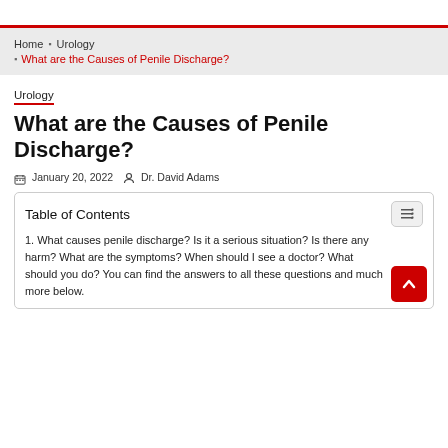Home › Urology › What are the Causes of Penile Discharge?
Urology
What are the Causes of Penile Discharge?
January 20, 2022  Dr. David Adams
Table of Contents
1. What causes penile discharge? Is it a serious situation? Is there any harm? What are the symptoms? When should I see a doctor? What should you do? You can find the answers to all these questions and much more below.